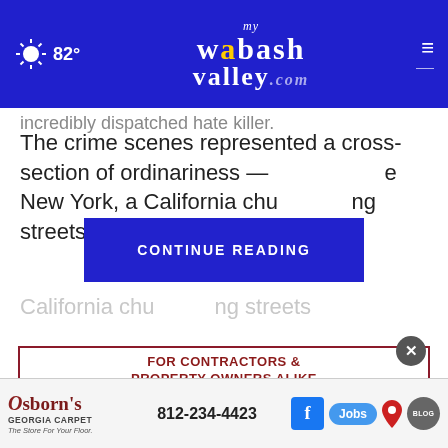82° mywabashvalley.com
incredibly dispatched hate killer.
The crime scenes represented a cross-section of ordinariness — e New York, a California chu ng streets
CONTINUE READING
[Figure (photo): Advertisement: FOR CONTRACTORS & PROPERTY OWNERS ALIKE with aerial photo of a metal building with red roof and white walls, two garage doors]
[Figure (logo): Osborn's Georgia Carpet - The Store For Your Floor. Phone: 812-234-4423 with Facebook icon, Jobs button, map pin, and Blog icon]